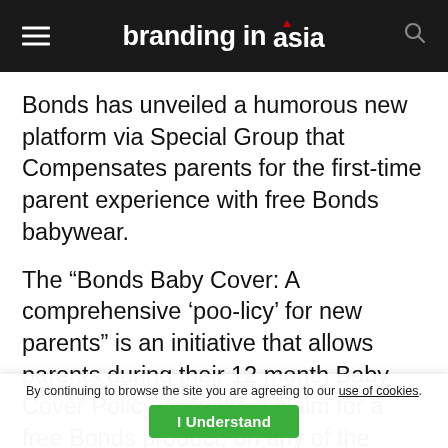branding in asia
Bonds has unveiled a humorous new platform via Special Group that Compensates parents for the first-time parent experience with free Bonds babywear.
The “Bonds Baby Cover: A comprehensive ‘poo-licy’ for new parents” is an initiative that allows parents during their 12 month Baby Cover Policy, to make a claim for a free Bonds product, on any of the
By continuing to browse the site you are agreeing to our use of cookies.
I Understand